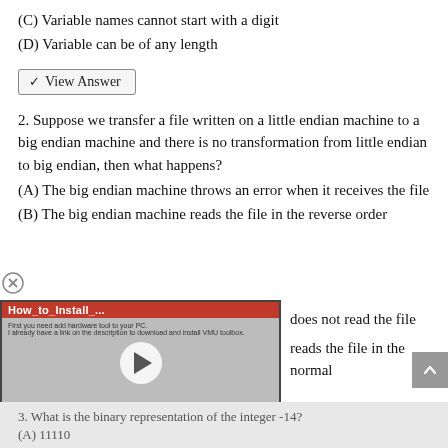(C) Variable names cannot start with a digit
(D) Variable can be of any length
View Answer
2. Suppose we transfer a file written on a little endian machine to a big endian machine and there is no transformation from little endian to big endian, then what happens?
(A) The big endian machine throws an error when it receives the file
(B) The big endian machine reads the file in the reverse order
[Figure (screenshot): Video thumbnail overlay showing 'How_to_Install...' title with a play button, partially obscuring the answer choices]
(C) does not read the file
(D) reads the file in the normal
3. What is the binary representation of the integer -14?
(A) 11110